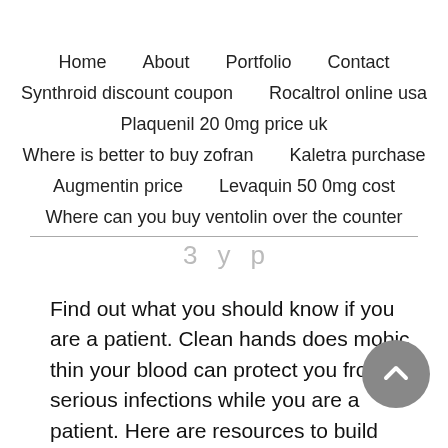Home   About   Portfolio   Contact   Synthroid discount coupon   Rocaltrol online usa   Plaquenil 200mg price uk   Where is better to buy zofran   Kaletra purchase   Augmentin price   Levaquin 500mg cost   Where can you buy ventolin over the counter
Find out what you should know if you are a patient. Clean hands does mobic thin your blood can protect you from serious infections while you are a patient. Here are resources to build capacity for implementing a comprehensive teen dating violence